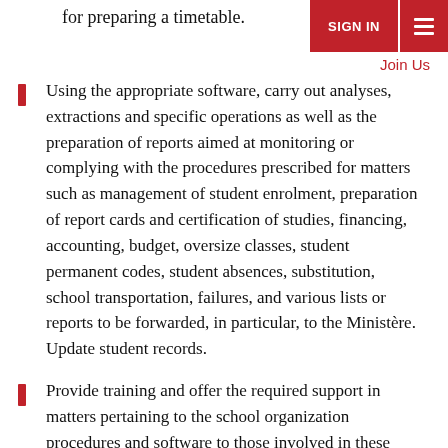for preparing a timetable.
SIGN IN | ☰ | Join Us
Using the appropriate software, carry out analyses, extractions and specific operations as well as the preparation of reports aimed at monitoring or complying with the procedures prescribed for matters such as management of student enrolment, preparation of report cards and certification of studies, financing, accounting, budget, oversize classes, student permanent codes, student absences, substitution, school transportation, failures, and various lists or reports to be forwarded, in particular, to the Ministère. Update student records.
Provide training and offer the required support in matters pertaining to the school organization procedures and software to those involved in these operations. If necessary, use word processing and Internet. Respond to information requests from fellow staff in the school or the board, as required.
The incumbent may be required to train less experienced technicians as well as coordinate the work of support staff in